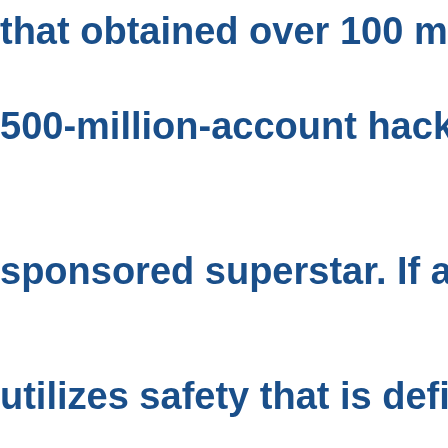that obtained over 100 mil
500-million-account hack d
sponsored superstar. If a d
utilizes safety that is defin